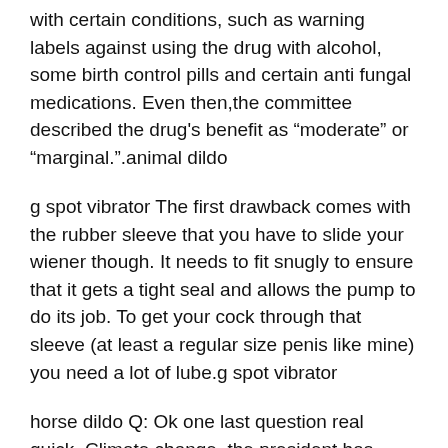with certain conditions, such as warning labels against using the drug with alcohol, some birth control pills and certain anti fungal medications. Even then,the committee described the drug's benefit as “moderate” or “marginal.”.animal dildo
g spot vibrator The first drawback comes with the rubber sleeve that you have to slide your wiener though. It needs to fit snugly to ensure that it gets a tight seal and allows the pump to do its job. To get your cock through that sleeve (at least a regular size penis like mine) you need a lot of lube.g spot vibrator
horse dildo Q: Ok one last question real quick. Climate change, the president has issued new rules regarding carbon dioxide at power plants. I want to know just briefly real quick, what your thoughts are on climate change and how going forward in the next administration should you be re elected, do you plan to file a lawsuit, how are you